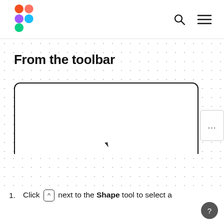Figma logo, search icon, menu icon
From the toolbar
[Figure (screenshot): Figma canvas screenshot showing a cursor and a toolbar at the bottom with shape tools: purple rectangle, triangle, half circle, green rectangle, and additional tool icons (arc, pen, diamond, plug, frame).]
1. Click [^] next to the Shape tool to select a